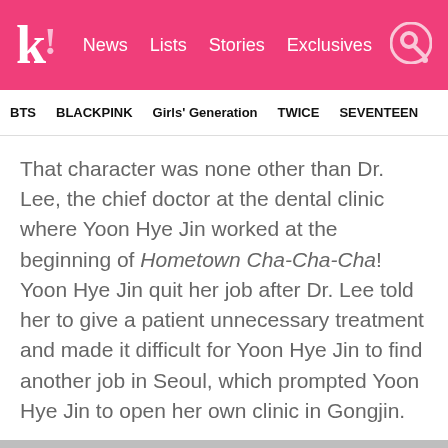k! News  Lists  Stories  Exclusives
BTS  BLACKPINK  Girls' Generation  TWICE  SEVENTEEN
That character was none other than Dr. Lee, the chief doctor at the dental clinic where Yoon Hye Jin worked at the beginning of Hometown Cha-Cha-Cha! Yoon Hye Jin quit her job after Dr. Lee told her to give a patient unnecessary treatment and made it difficult for Yoon Hye Jin to find another job in Seoul, which prompted Yoon Hye Jin to open her own clinic in Gongjin.
[Figure (photo): Black and white/grayscale screenshot from the K-drama Hometown Cha-Cha-Cha showing a person (silhouette) with a play button overlay, indicating an embedded video or gallery image.]